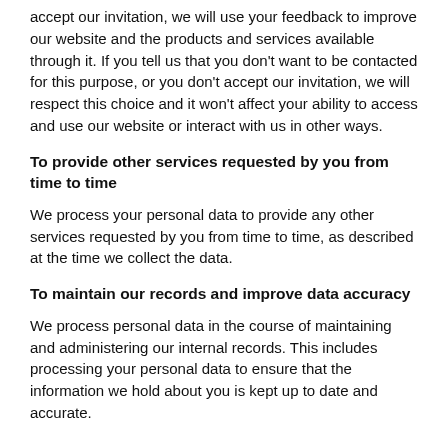accept our invitation, we will use your feedback to improve our website and the products and services available through it. If you tell us that you don't want to be contacted for this purpose, or you don't accept our invitation, we will respect this choice and it won't affect your ability to access and use our website or interact with us in other ways.
To provide other services requested by you from time to time
We process your personal data to provide any other services requested by you from time to time, as described at the time we collect the data.
To maintain our records and improve data accuracy
We process personal data in the course of maintaining and administering our internal records. This includes processing your personal data to ensure that the information we hold about you is kept up to date and accurate.